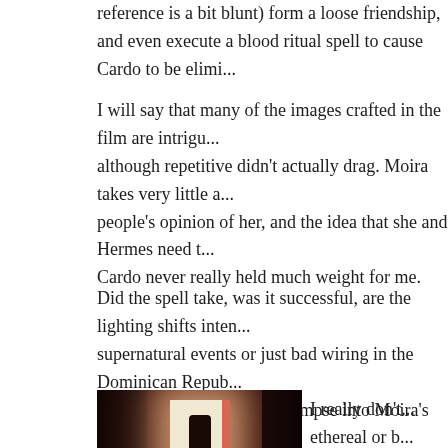reference is a bit blunt) form a loose friendship, and even execute a blood ritual spell to cause Cardo to be elimi...
I will say that many of the images crafted in the film are intrigu... although repetitive didn't actually drag. Moira takes very little a... people's opinion of her, and the idea that she and Hermes need t... Cardo never really held much weight for me.
Did the spell take, was it successful, are the lighting shifts inten... supernatural events or just bad wiring in the Dominican Repub... happened, or somehow a glimpse into Moira's eventual disposir... physical escape.
[Figure (photo): A dark atmospheric photograph showing a silhouetted figure in a long dress standing in a bright doorway, with red-tinted walls on either side creating a dramatic contrast between darkness and light.]
I really don't... ethereal or b... interpretation... disturbing po... You can have... like Moira a...